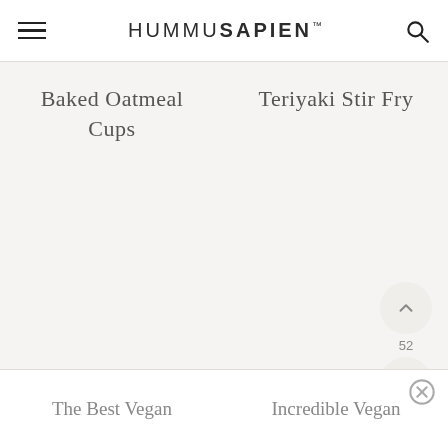HUMMUSAPIEN
Baked Oatmeal Cups
Teriyaki Stir Fry
52
The Best Vegan
Incredible Vegan